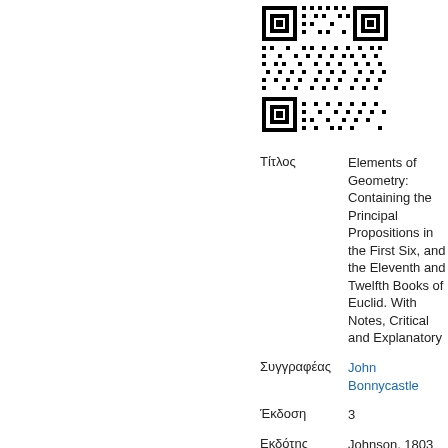[Figure (other): QR code image in the upper right area of the page]
| Τίτλος | Elements of Geometry: Containing the Principal Propositions in the First Six, and the Eleventh and Twelfth Books of Euclid. With Notes, Critical and Explanatory |
| Συγγραφέας | John Bonnycastle |
| Έκδοση | 3 |
| Εκδότης | Johnson, 1803 |